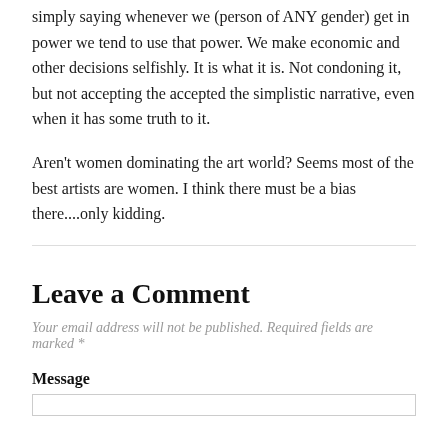simply saying whenever we (person of ANY gender) get in power we tend to use that power. We make economic and other decisions selfishly. It is what it is. Not condoning it, but not accepting the accepted the simplistic narrative, even when it has some truth to it.
Aren't women dominating the art world? Seems most of the best artists are women. I think there must be a bias there....only kidding.
Leave a Comment
Your email address will not be published. Required fields are marked *
Message